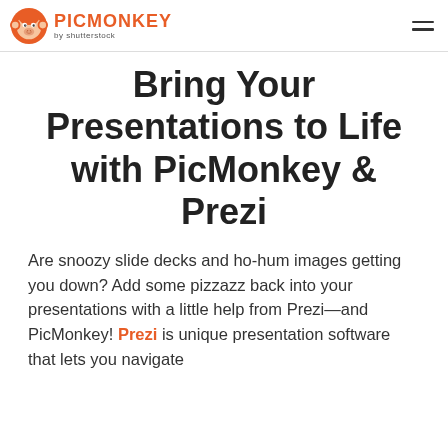PICMONKEY by shutterstock
Bring Your Presentations to Life with PicMonkey & Prezi
Are snoozy slide decks and ho-hum images getting you down? Add some pizzazz back into your presentations with a little help from Prezi—and PicMonkey! Prezi is unique presentation software that lets you navigate